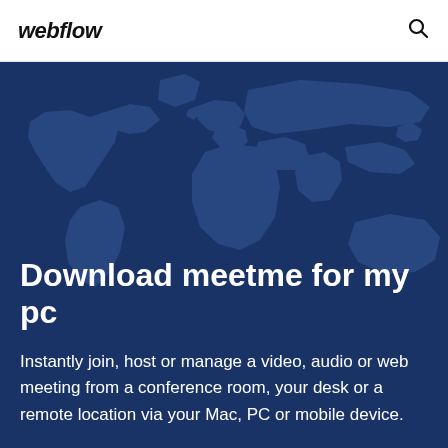webflow
[Figure (illustration): World map silhouette illustration in dark blue tones used as hero background]
Download meetme for my pc
Instantly join, host or manage a video, audio or web meeting from a conference room, your desk or a remote location via your Mac, PC or mobile device.